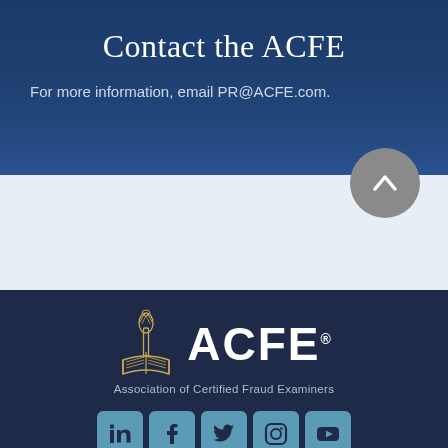Contact the ACFE
For more information, email PR@ACFE.com.
[Figure (logo): ACFE logo with torch and book emblem, text 'ACFE' and 'Association of Certified Fraud Examiners']
[Figure (infographic): Social media icons row: LinkedIn, Facebook, Twitter, Instagram, YouTube]